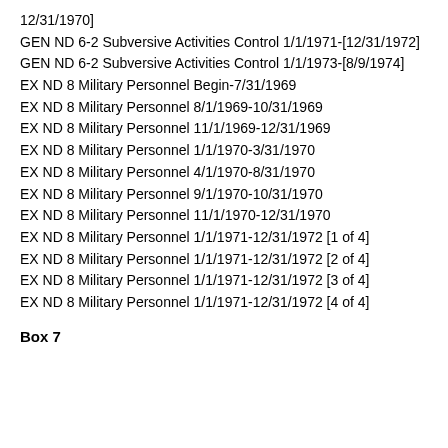12/31/1970]
GEN ND 6-2 Subversive Activities Control 1/1/1971-[12/31/1972]
GEN ND 6-2 Subversive Activities Control 1/1/1973-[8/9/1974]
EX ND 8 Military Personnel Begin-7/31/1969
EX ND 8 Military Personnel 8/1/1969-10/31/1969
EX ND 8 Military Personnel 11/1/1969-12/31/1969
EX ND 8 Military Personnel 1/1/1970-3/31/1970
EX ND 8 Military Personnel 4/1/1970-8/31/1970
EX ND 8 Military Personnel 9/1/1970-10/31/1970
EX ND 8 Military Personnel 11/1/1970-12/31/1970
EX ND 8 Military Personnel 1/1/1971-12/31/1972 [1 of 4]
EX ND 8 Military Personnel 1/1/1971-12/31/1972 [2 of 4]
EX ND 8 Military Personnel 1/1/1971-12/31/1972 [3 of 4]
EX ND 8 Military Personnel 1/1/1971-12/31/1972 [4 of 4]
Box 7